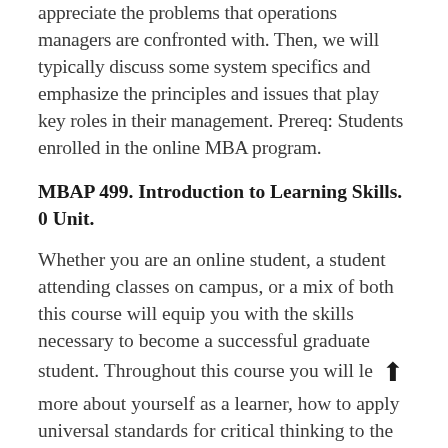appreciate the problems that operations managers are confronted with. Then, we will typically discuss some system specifics and emphasize the principles and issues that play key roles in their management. Prereq: Students enrolled in the online MBA program.
MBAP 499. Introduction to Learning Skills. 0 Unit.
Whether you are an online student, a student attending classes on campus, or a mix of both this course will equip you with the skills necessary to become a successful graduate student. Throughout this course you will le more about yourself as a learner, how to apply universal standards for critical thinking to the